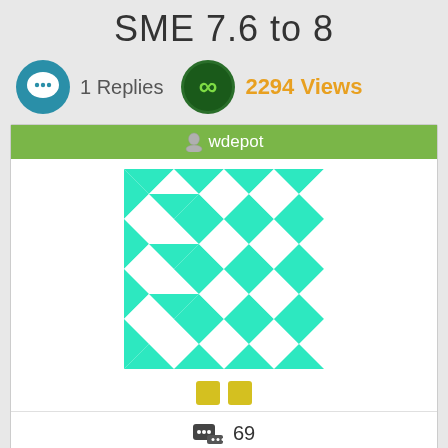SME 7.6 to 8
1 Replies   2294 Views
wdepot
[Figure (illustration): Avatar image with teal/white geometric diamond pattern]
69
+0/-0
[Figure (illustration): Globe/world icon in footer]